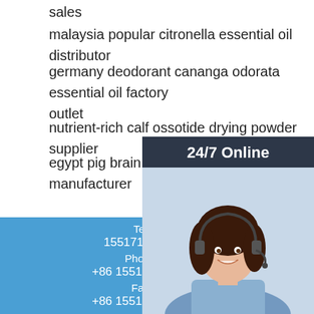sales
malaysia popular citronella essential oil distributor
germany deodorant cananga odorata essential oil factory outlet
nutrient-rich calf ossotide drying powder supplier
egypt pig brain extract dry powder manufacturer
[Figure (photo): 24/7 online support chat widget with woman wearing headset, click here for free chat, quotation button]
Tel
15517160690
Phone
+86 15517160690
Fax
+86 15517160690
Email
kongweihui01@gmail.com